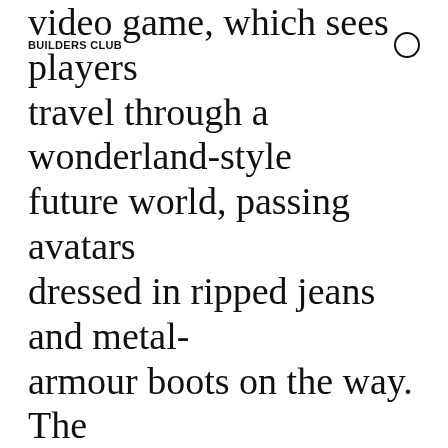BUILDERS CLUB
video game, which sees players travel through a wonderland-style future world, passing avatars dressed in ripped jeans and metal-armour boots on the way. The Afterworld: The Age of Tomorrow video game is structured in five different levels, or "zones", which the player simply has to walk through, following a predetermined path of glowing arrows.